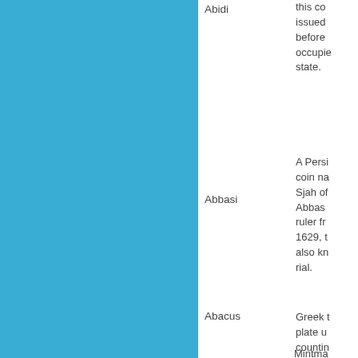[Figure (other): Solid light blue decorative panel occupying the left half of the page]
Abidi — this coin issued before occupie state.
Abbasi — A Persi coin na Sjah of Abbas ruler fro 1629, t also kn rial.
Abacus — Greek t plate u countin
AA — Mintma French minted from th 1662-1
Mintma